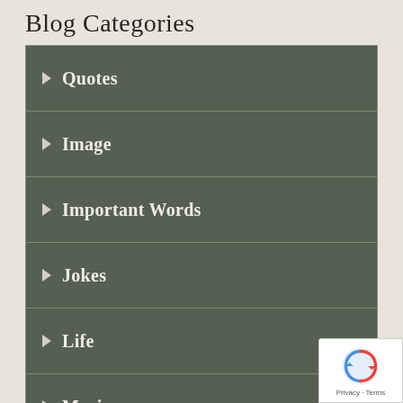Blog Categories
Quotes
Image
Important Words
Jokes
Life
Music
Nature
Pop Music